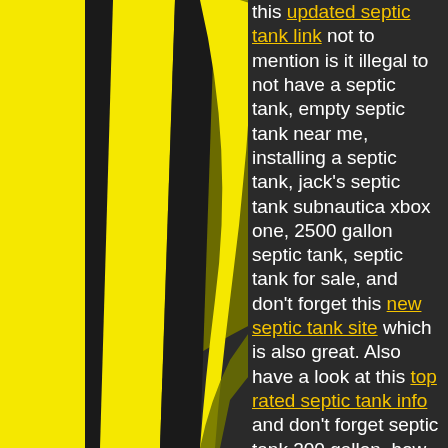[Figure (illustration): Abstract graphic with bright yellow and black diagonal stripes/bands on the left portion of the page, with an olive/dark yellow curved shape in the upper-right portion of the graphic area, all on a dark background.]
this updated septic tank link not to mention is it illegal to not have a septic tank, empty septic tank near me, installing a septic tank, jack's septic tank subnautica xbox one, 2500 gallon septic tank, septic tank for sale, and don't forget this new septic tank site which is also great. Also have a look at this top rated septic tank info and don't forget septic tank 200 gallon, how does a septic tank work, 500 gallon